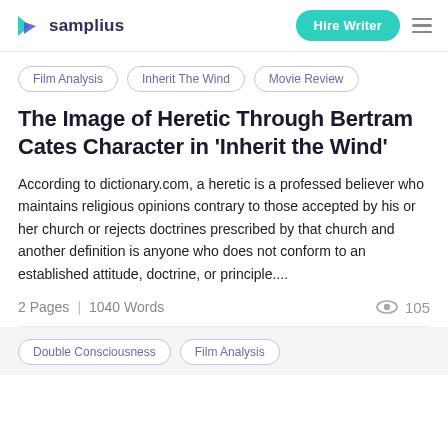samplius | Hire Writer
Film Analysis
Inherit The Wind
Movie Review
The Image of Heretic Through Bertram Cates Character in 'Inherit the Wind'
According to dictionary.com, a heretic is a professed believer who maintains religious opinions contrary to those accepted by his or her church or rejects doctrines prescribed by that church and another definition is anyone who does not conform to an established attitude, doctrine, or principle....
2 Pages  |  1040 Words   105
Double Consciousness
Film Analysis